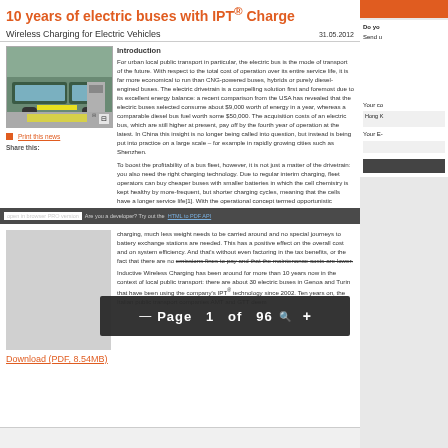10 years of electric buses with IPT® Charge
Wireless Charging for Electric Vehicles
31.05.2012
[Figure (photo): Electric bus at charging station with yellow road markings]
Print this news
Share this:
Introduction
For urban local public transport in particular, the electric bus is the mode of transport of the future. With respect to the total cost of operation over its entire service life, it is far more economical to run than CNG-powered buses, hybrids or purely diesel-engined buses. The electric drivetrain is a compelling solution first and foremost due to its excellent energy balance: a recent comparison from the USA has revealed that the electric buses selected consume about $9,000 worth of energy in a year, whereas a comparable diesel bus fuel worth some $50,000. The acquisition costs of an electric bus, which are still higher at present, pay off by the fourth year of operation at the latest. In China this insight is no longer being called into question, but instead is being put into practice on a large scale – for example in rapidly growing cities such as Shenzhen.
To boost the profitability of a bus fleet, however, it is not just a matter of the drivetrain: you also need the right charging technology. Due to regular interim charging, fleet operators can buy cheaper buses with smaller batteries in which the cell chemistry is kept healthy by more-frequent, but shorter charging cycles, meaning that the cells have a longer service life[1]. With the operational concept termed opportunistic
charging, much less weight needs to be carried around and no special journeys to battery exchange stations are needed. This has a positive effect on the overall cost and on system efficiency. And that's without even factoring in the tax benefits, or the fact that there are no emissions fines to pay and that the maintenance costs are lower.
Inductive Wireless Charging has been around for more than 10 years now in the context of local public transport: there are about 30 electric buses in Genoa and Turin that have been using the company's IPT® technology since 2002. Ten years on, the Italian public transport companies AMT and GTT deem
Page 1 of 96
Download (PDF, 8.54MB)